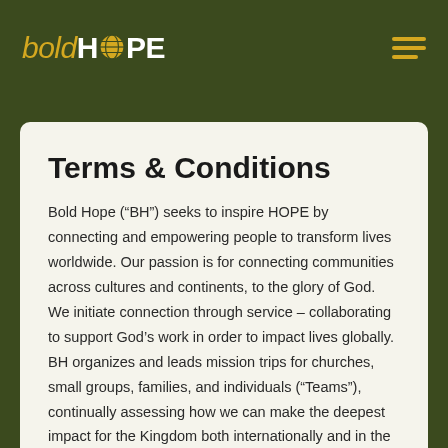boldHOPE
Terms & Conditions
Bold Hope ("BH") seeks to inspire HOPE by connecting and empowering people to transform lives worldwide. Our passion is for connecting communities across cultures and continents, to the glory of God. We initiate connection through service – collaborating to support God's work in order to impact lives globally. BH organizes and leads mission trips for churches, small groups, families, and individuals ("Teams"), continually assessing how we can make the deepest impact for the Kingdom both internationally and in the U.S.